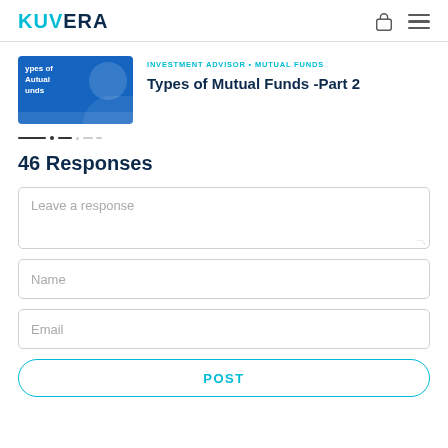KUVERA
[Figure (screenshot): Thumbnail image for Types of Mutual Funds Part 2 article, blue background with white text]
INVESTMENT ADVISOR • MUTUAL FUNDS
Types of Mutual Funds -Part 2
46 Responses
Leave a response
Name
Email
POST